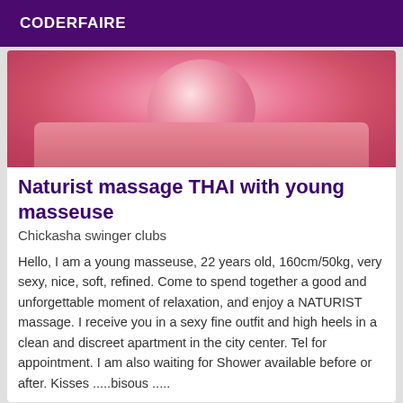CODERFAIRE
[Figure (photo): Pink fabric or clothing item, close-up photo used as listing thumbnail image]
Naturist massage THAI with young masseuse
Chickasha swinger clubs
Hello, I am a young masseuse, 22 years old, 160cm/50kg, very sexy, nice, soft, refined. Come to spend together a good and unforgettable moment of relaxation, and enjoy a NATURIST massage. I receive you in a sexy fine outfit and high heels in a clean and discreet apartment in the city center. Tel for appointment. I am also waiting for Shower available before or after. Kisses .....bisous .....
[Figure (photo): Bottom listing card with a photo of a person and a Verified badge in purple]